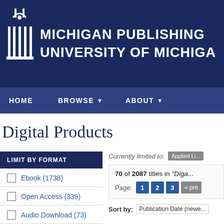MICHIGAN PUBLISHING UNIVERSITY OF MICHIGAN
HOME   BROWSE   ABOUT
Digital Products
LIMIT BY FORMAT
Ebook (1738)
Open Access (339)
Audio Download (73)
Currently limited to: Applied Limit
70 of 2087 titles in "Digi..."
Page: 1 2 3 « pre
Sort by: Publication Date (newe...